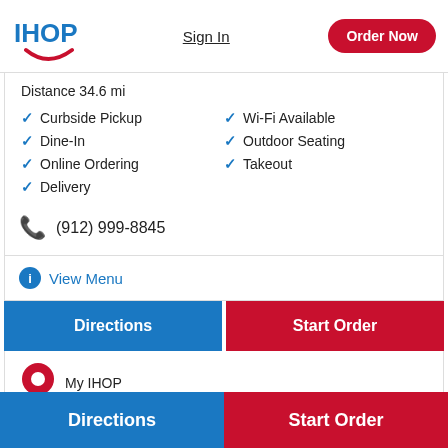[Figure (logo): IHOP logo in blue text with red smile arc]
Sign In
Order Now
Distance 34.6 mi
Curbside Pickup
Dine-In
Online Ordering
Delivery
Wi-Fi Available
Outdoor Seating
Takeout
(912) 999-8845
View Menu
Directions
Start Order
My IHOP
Directions
Start Order